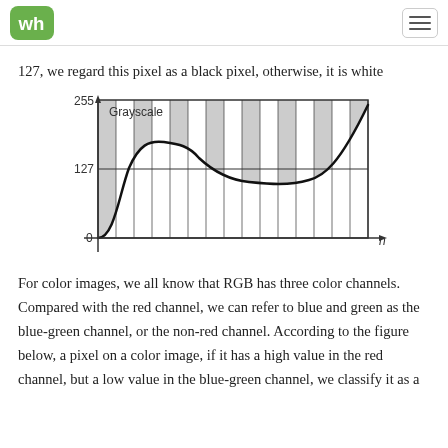WA [logo] [hamburger menu]
127, we regard this pixel as a black pixel, otherwise, it is white
[Figure (continuous-plot): A line chart showing Grayscale (y-axis, 0-255) vs n (x-axis). A curved line starts low on the left, rises above 127, then dips below 127, then rises sharply at the right end. Alternating grey and white vertical bands fill the area above the curve up to 255. A horizontal line marks y=127.]
For color images, we all know that RGB has three color channels. Compared with the red channel, we can refer to blue and green as the blue-green channel, or the non-red channel. According to the figure below, a pixel on a color image, if it has a high value in the red channel, but a low value in the blue-green channel, we classify it as a